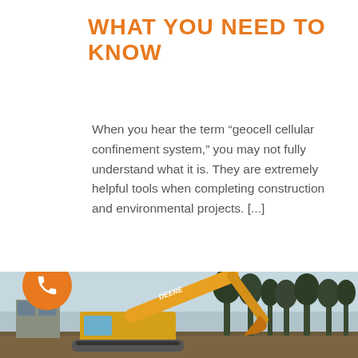WHAT YOU NEED TO KNOW
When you hear the term “geocell cellular confinement system,” you may not fully understand what it is. They are extremely helpful tools when completing construction and environmental projects. [...]
READ MORE
[Figure (photo): Orange and yellow John Deere excavator arm with construction site in background, trees visible, winter scene.]